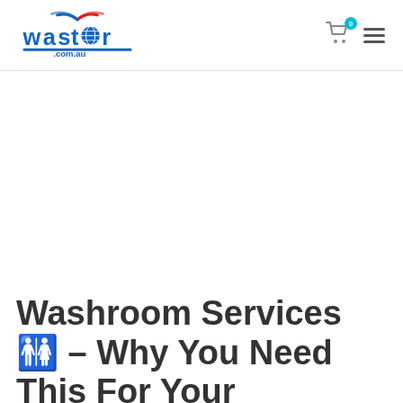[Figure (logo): Waster.com.au logo with blue and red WiFi-style arcs above the text]
[Figure (infographic): Shopping cart icon with cyan badge showing 0, and hamburger menu icon]
Washroom Services 🚻 – Why You Need This For Your Business